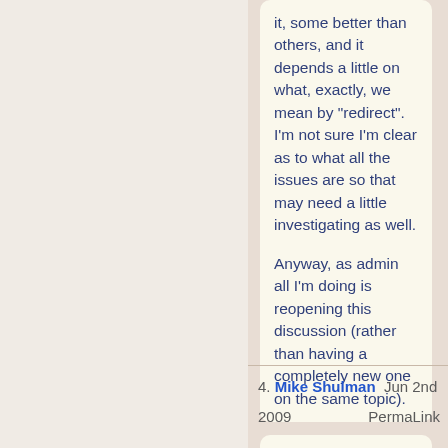it, some better than others, and it depends a little on what, exactly, we mean by "redirect". I'm not sure I'm clear as to what all the issues are so that may need a little investigating as well.

Anyway, as admin all I'm doing is reopening this discussion (rather than having a completely new one on the same topic).
4. Mike Shulman  Jun 2nd 2009  PermaLink
Can we have this discussion somewhere